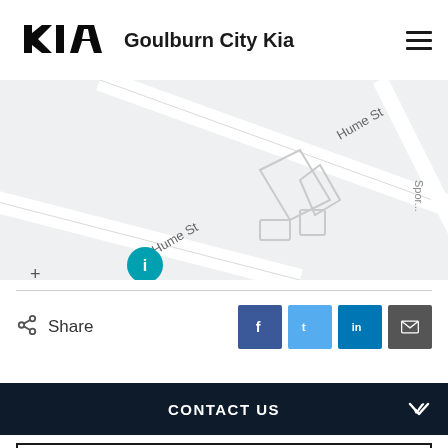[Figure (logo): Kia logo — stylized angular KIA lettering in black]
Goulburn City Kia
[Figure (map): Street map showing Hume St and surrounding roads near Goulburn City Kia dealership with a teal location pin]
Share
[Figure (infographic): Social share buttons: Facebook, Twitter, LinkedIn, Email]
CONTACT US
FINANCE THIS VEHICLE